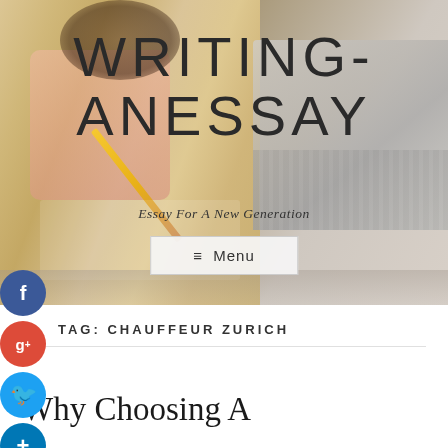[Figure (photo): Hero banner showing a child writing with a pencil on paper, with a laptop in the background, overlaid with site title text]
WRITING-ANESSAY
Essay For A New Generation
≡ Menu
TAG: CHAUFFEUR ZURICH
Why Choosing A